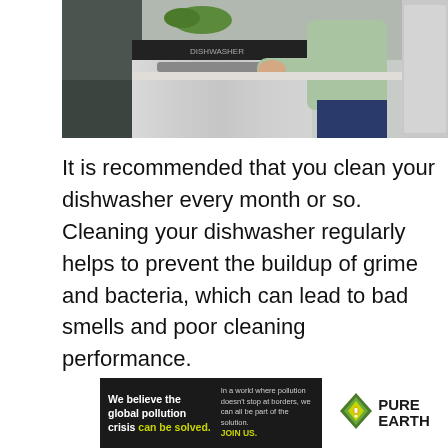[Figure (photo): A person in a light green sweater opening the door of a stainless steel dishwasher in a modern kitchen with dark cabinetry.]
It is recommended that you clean your dishwasher every month or so. Cleaning your dishwasher regularly helps to prevent the buildup of grime and bacteria, which can lead to bad smells and poor cleaning performance.
[Figure (infographic): Pure Earth advertisement banner. Left dark section: 'We believe the global pollution crisis can be solved.' and 'In a world where pollution doesn't stop at borders, we can all be part of the solution. JOIN US.' Right white section: Pure Earth logo with diamond/triangle icon and text 'PURE EARTH'.]